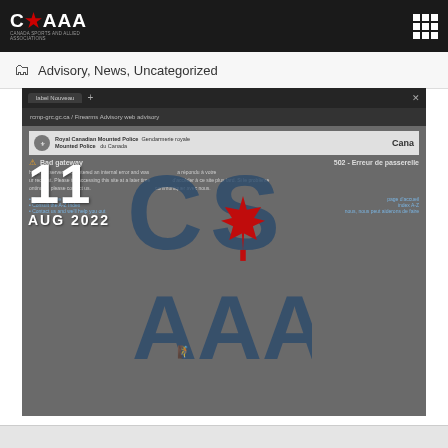CSAAA [logo] | [grid icon]
Advisory, News, Uncategorized
[Figure (screenshot): Screenshot of RCMP website showing a 502 Bad Gateway / Erreur de passerelle error page, overlaid with CSAAA logo watermark and date '11 AUG 2022']